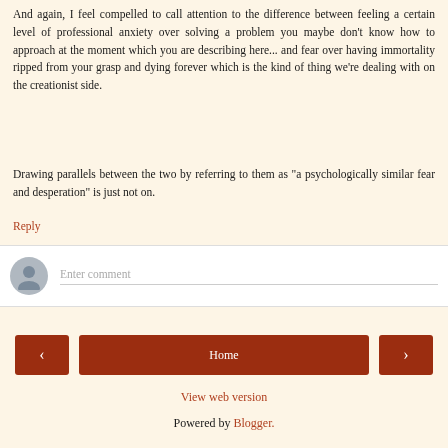And again, I feel compelled to call attention to the difference between feeling a certain level of professional anxiety over solving a problem you maybe don't know how to approach at the moment which you are describing here... and fear over having immortality ripped from your grasp and dying forever which is the kind of thing we're dealing with on the creationist side.
Drawing parallels between the two by referring to them as "a psychologically similar fear and desperation" is just not on.
Reply
[Figure (other): Comment input box with user avatar placeholder and 'Enter comment' placeholder text]
Home
View web version
Powered by Blogger.